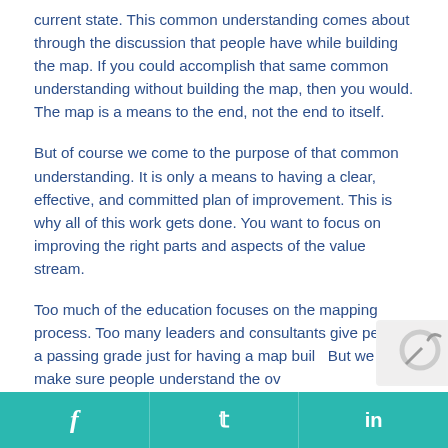current state. This common understanding comes about through the discussion that people have while building the map. If you could accomplish that same common understanding without building the map, then you would. The map is a means to the end, not the end to itself.
But of course we come to the purpose of that common understanding. It is only a means to having a clear, effective, and committed plan of improvement. This is why all of this work gets done. You want to focus on improving the right parts and aspects of the value stream.
Too much of the education focuses on the mapping process. Too many leaders and consultants give people a passing grade just for having a map built. But we try to make sure people understand the ov...
f   t   in